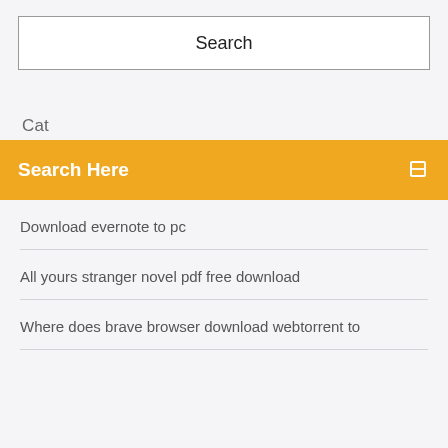[Figure (screenshot): Search box with border containing the word 'Search' centered]
Cat
Search Here
Download evernote to pc
All yours stranger novel pdf free download
Where does brave browser download webtorrent to